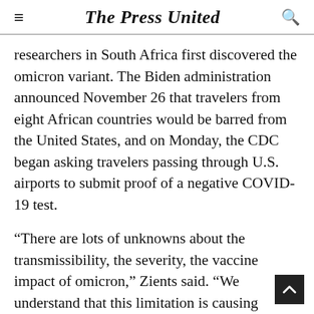The Press United
researchers in South Africa first discovered the omicron variant. The Biden administration announced November 26 that travelers from eight African countries would be barred from the United States, and on Monday, the CDC began asking travelers passing through U.S. airports to submit proof of a negative COVID-19 test.
“There are lots of unknowns about the transmissibility, the severity, the vaccine impact of omicron,” Zients said. “We understand that this limitation is causing